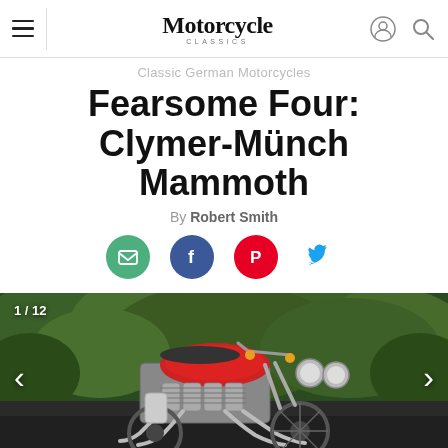Motorcycle Classics
Classic German Motorcycles
Fearsome Four: Clymer-Münch Mammoth
By Robert Smith
[Figure (photo): Photo of a red and silver Clymer-Münch Mammoth motorcycle against a green tree background, gallery image 1 of 12]